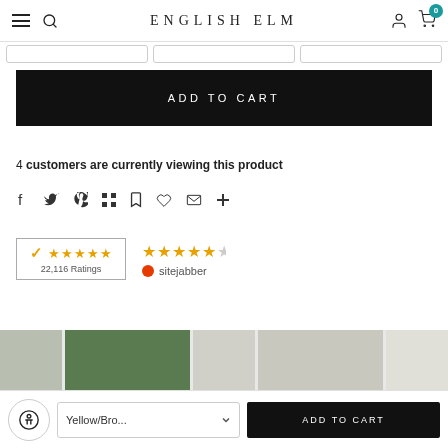ENGLISH ELM
ADD TO CART
4 customers are currently viewing this product
[Figure (infographic): Social sharing icons row: Facebook, Twitter, Pinterest, Grid, Bookmark, Heart, Envelope, Plus]
[Figure (infographic): Reseller Ratings badge showing 5 stars and 22,116 Ratings]
[Figure (infographic): Sitejabber rating showing approximately 4.5 stars]
[Figure (photo): Product image strip showing furniture items]
ADD TO CART
Yellow/Bro...